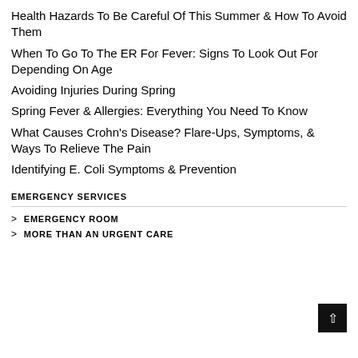Health Hazards To Be Careful Of This Summer & How To Avoid Them
When To Go To The ER For Fever: Signs To Look Out For Depending On Age
Avoiding Injuries During Spring
Spring Fever & Allergies: Everything You Need To Know
What Causes Crohn's Disease? Flare-Ups, Symptoms, & Ways To Relieve The Pain
Identifying E. Coli Symptoms & Prevention
EMERGENCY SERVICES
> EMERGENCY ROOM
> MORE THAN AN URGENT CARE